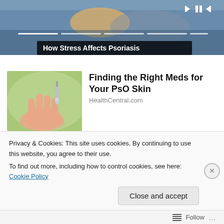[Figure (screenshot): Video player showing a medical/health video with transport controls (skip back, pause, skip forward), progress bar segments, and title overlay 'How Stress Affects Psoriasis']
How Stress Affects Psoriasis
[Figure (photo): Close-up photo of a hand with a medication dropper/applicator applying liquid to a palm, green background]
Finding the Right Meds for Your PsO Skin
HealthCentral.com
[Figure (photo): Partially visible photo showing grocery store shelves with products]
$900 Grocery Allowance For
Privacy & Cookies: This site uses cookies. By continuing to use this website, you agree to their use.
To find out more, including how to control cookies, see here: Cookie Policy
Close and accept